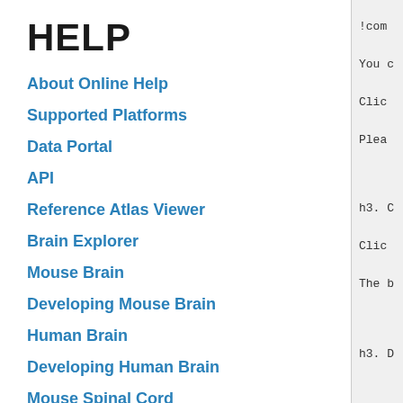HELP
About Online Help
Supported Platforms
Data Portal
API
Reference Atlas Viewer
Brain Explorer
Mouse Brain
Developing Mouse Brain
Human Brain
Developing Human Brain
Mouse Spinal Cord
!comp
You c
Clic
Plea
h3. C
Clic
The b
h3. D